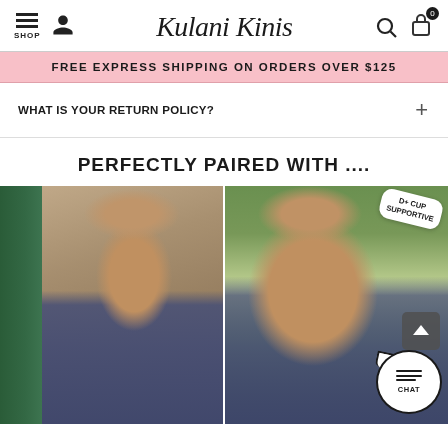SHOP | Kulani Kinis
FREE EXPRESS SHIPPING ON ORDERS OVER $125
WHAT IS YOUR RETURN POLICY?
PERFECTLY PAIRED WITH ....
[Figure (photo): Two models wearing matching navy/blue bikinis. Left model wears a triangle bikini top and string bottoms, posed against a stone wall with green door. Right model wears a sporty crop-style bikini top and bottoms, posed near a pool. Right image has a 'D+ Cup Supportive' badge in the top corner.]